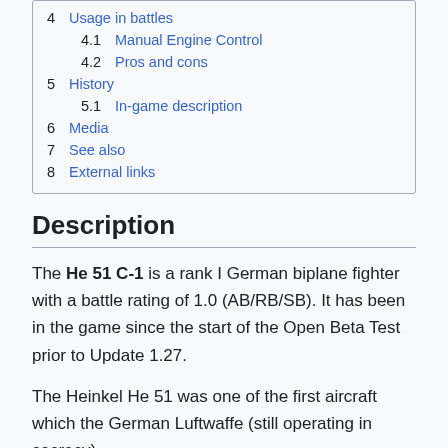4  Usage in battles
4.1  Manual Engine Control
4.2  Pros and cons
5  History
5.1  In-game description
6  Media
7  See also
8  External links
Description
The He 51 C-1 is a rank I German biplane fighter with a battle rating of 1.0 (AB/RB/SB). It has been in the game since the start of the Open Beta Test prior to Update 1.27.
The Heinkel He 51 was one of the first aircraft which the German Luftwaffe (still operating in secrecy)